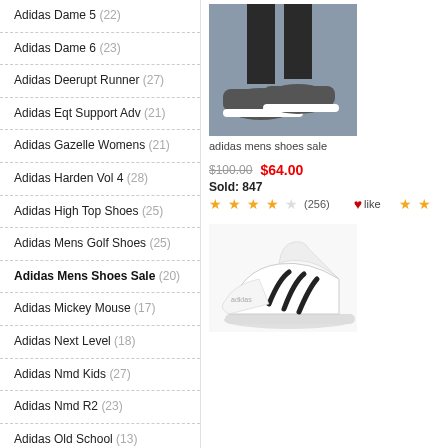Adidas Dame 5 (22)
Adidas Dame 6 (23)
Adidas Deerupt Runner (27)
Adidas Eqt Support Adv (21)
Adidas Gazelle Womens (21)
Adidas Harden Vol 4 (28)
Adidas High Top Shoes (25)
Adidas Mens Golf Shoes (25)
Adidas Mens Shoes Sale (20)
Adidas Mickey Mouse (17)
Adidas Next Level (18)
Adidas Nmd Kids (27)
Adidas Nmd R2 (23)
Adidas Old School (13)
Adidas Originals Yeezy Boost 350 V2 Shoes (16)
[Figure (photo): Photo of Adidas mens shoe from side angle on grey background]
adidas mens shoes sale
$100.00  $64.00
Sold: 847
★★★★☆ (256)  ❤like